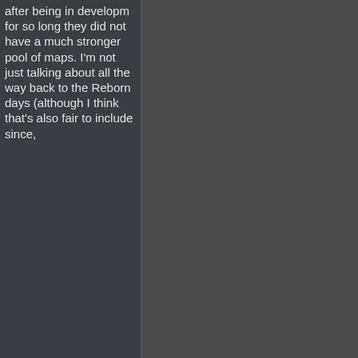after being in development for so long they did not have a much stronger pool of maps. I'm not just talking about all the way back to the Reborn days (although I think that's also fair to include since,